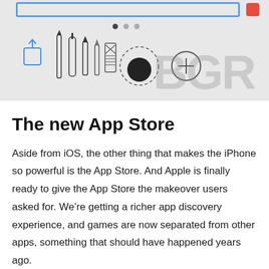[Figure (screenshot): Screenshot of an iOS drawing/annotation app toolbar showing pencils, markers, erasers, and other tools on a light gray background, with a blue rectangle outline at top, a red button top-right, pagination dots, and a BGR watermark.]
The new App Store
Aside from iOS, the other thing that makes the iPhone so powerful is the App Store. And Apple is finally ready to give the App Store the makeover users asked for. We’re getting a richer app discovery experience, and games are now separated from other apps, something that should have happened years ago.